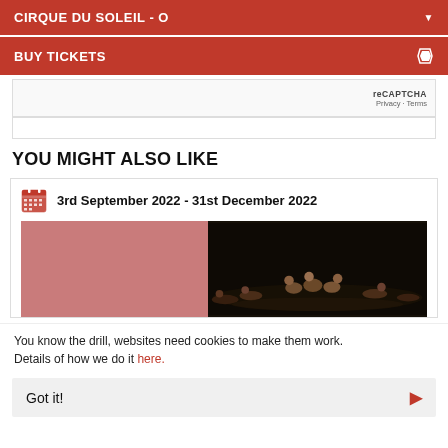CIRQUE DU SOLEIL - O
BUY TICKETS
[Figure (screenshot): reCAPTCHA widget partial view with Privacy and Terms links]
YOU MIGHT ALSO LIKE
3rd September 2022 - 31st December 2022
[Figure (photo): Left half: pink/rose colored placeholder block. Right half: dark theatrical photo of performers/acrobats on a dark stage floor.]
You know the drill, websites need cookies to make them work. Details of how we do it here.
Got it!